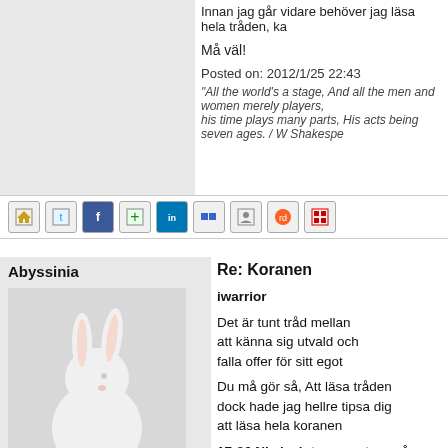Innan jag går vidare behöver jag läsa hela tråden, ka
Må väl!
Posted on: 2012/1/25 22:43
"All the world's a stage, And all the men and women merely players, his time plays many parts, His acts being seven ages. / W Shakespe
[Figure (infographic): Social sharing buttons: home, twitter, facebook, add, linkedin, delicious, user, reddit, and a decorative icon]
Abyssinia
Re: Koranen
[Figure (photo): White rabbit/bunny figurine on grey background with expand icon]
iwarrior
Det är tunt tråd mellan
att känna sig utvald och
falla offer för sitt egot

Du må gör så, Att läsa tråden
dock hade jag hellre tipsa dig
att läsa hela koranen

17:36 Ni ska inte acceptera någon information, om ni inte själva bekräftar den. Jag har givit er hörseln, synen, och hjärnan, och ni ansvarar för att använda dem.

http://www.underkastelse.org/koranen/appendix/appe

Posted on: 2012/1/25 23:10